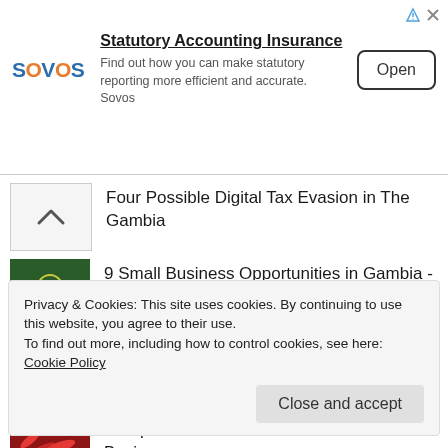[Figure (infographic): Sovos advertisement banner: Sovos logo on left, heading 'Statutory Accounting Insurance', subtext 'Find out how you can make statutory reporting more efficient and accurate. Sovos', and 'Open' button on right. Ad icons (triangle and X) top right.]
Four Possible Digital Tax Evasion in The Gambia
9 Small Business Opportunities in Gambia - Part 2
10 Investment Opportunities in the New Gambia
Components of Market Research for Small Business
Privacy & Cookies: This site uses cookies. By continuing to use this website, you agree to their use.
To find out more, including how to control cookies, see here: Cookie Policy